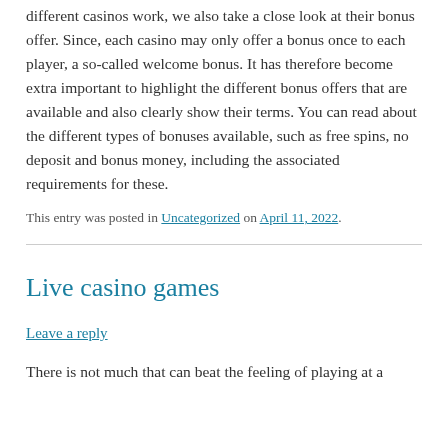different casinos work, we also take a close look at their bonus offer. Since, each casino may only offer a bonus once to each player, a so-called welcome bonus. It has therefore become extra important to highlight the different bonus offers that are available and also clearly show their terms. You can read about the different types of bonuses available, such as free spins, no deposit and bonus money, including the associated requirements for these.
This entry was posted in Uncategorized on April 11, 2022.
Live casino games
Leave a reply
There is not much that can beat the feeling of playing at a